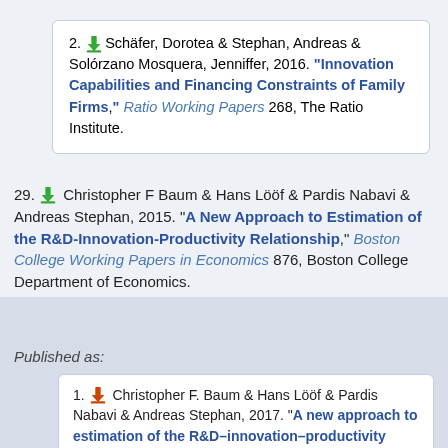2. Schäfer, Dorotea & Stephan, Andreas & Solórzano Mosquera, Jenniffer, 2016. "Innovation Capabilities and Financing Constraints of Family Firms," Ratio Working Papers 268, The Ratio Institute.
29. Christopher F Baum & Hans Lööf & Pardis Nabavi & Andreas Stephan, 2015. "A New Approach to Estimation of the R&D-Innovation-Productivity Relationship," Boston College Working Papers in Economics 876, Boston College Department of Economics.
Published as:
1. Christopher F. Baum & Hans Lööf & Pardis Nabavi & Andreas Stephan, 2017. "A new approach to estimation of the R&D–innovation–productivity relationship," Economics of Innovation and New Technology, Taylor & Francis Journals, vol.